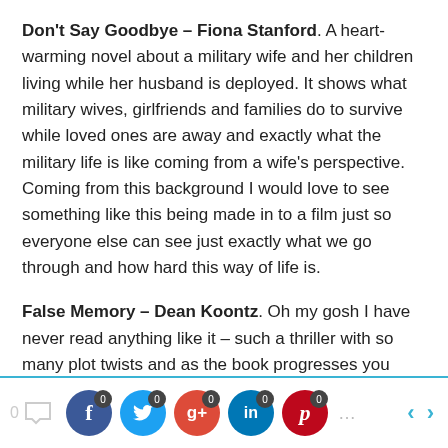Don't Say Goodbye – Fiona Stanford. A heart-warming novel about a military wife and her children living while her husband is deployed. It shows what military wives, girlfriends and families do to survive while loved ones are away and exactly what the military life is like coming from a wife's perspective. Coming from this background I would love to see something like this being made in to a film just so everyone else can see just exactly what we go through and how hard this way of life is.
False Memory – Dean Koontz. Oh my gosh I have never read anything like it – such a thriller with so many plot twists and as the book progresses you realise what is happening is so much more sinister and unexpected to what you think will happen at the beginning. It is such an
0 [comment] [facebook 0] [twitter 0] [g+ 0] [linkedin 0] [pinterest 0] [< >]